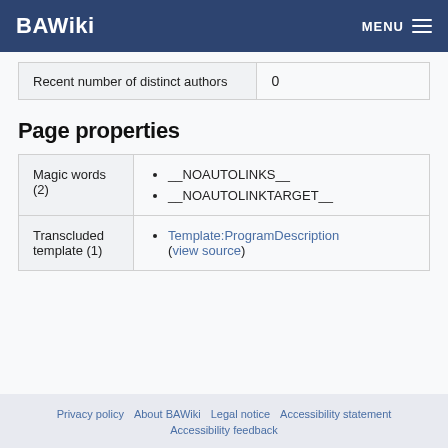BAWiki | MENU
|  |  |
| --- | --- |
| Recent number of distinct authors | 0 |
Page properties
|  |  |
| --- | --- |
| Magic words (2) | __NOAUTOLINKS__ • __NOAUTOLINKTARGET__ |
| Transcluded template (1) | Template:ProgramDescription (view source) |
Privacy policy  About BAWiki  Legal notice  Accessibility statement  Accessibility feedback